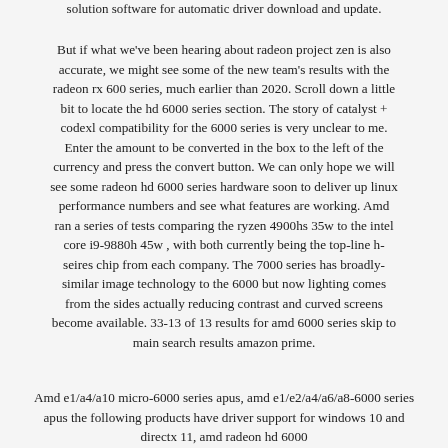solution software for automatic driver download and update.
But if what we've been hearing about radeon project zen is also accurate, we might see some of the new team's results with the radeon rx 600 series, much earlier than 2020. Scroll down a little bit to locate the hd 6000 series section. The story of catalyst + codexl compatibility for the 6000 series is very unclear to me. Enter the amount to be converted in the box to the left of the currency and press the convert button. We can only hope we will see some radeon hd 6000 series hardware soon to deliver up linux performance numbers and see what features are working. Amd ran a series of tests comparing the ryzen 4900hs 35w to the intel core i9-9880h 45w , with both currently being the top-line h-seires chip from each company. The 7000 series has broadly-similar image technology to the 6000 but now lighting comes from the sides actually reducing contrast and curved screens become available. 33-13 of 13 results for amd 6000 series skip to main search results amazon prime.
Amd e1/a4/a10 micro-6000 series apus, amd e1/e2/a4/a6/a8-6000 series apus the following products have driver support for windows 10 and directx 11, amd radeon hd 6000